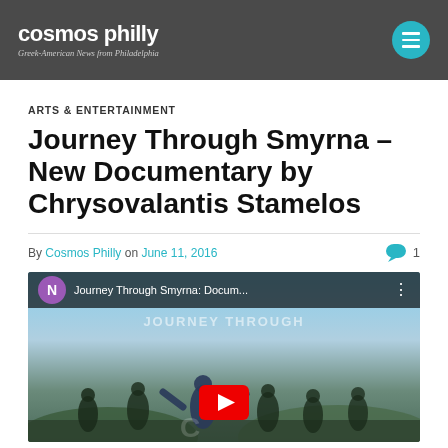cosmos philly — Greek-American News from Philadelphia
ARTS & ENTERTAINMENT
Journey Through Smyrna – New Documentary by Chrysovalantis Stamelos
By Cosmos Philly on June 11, 2016  💬 1
[Figure (screenshot): YouTube video thumbnail for 'Journey Through Smyrna: Docum...' showing a group of people outdoors with a hillside town in background, purple avatar with N, red YouTube play button overlay]